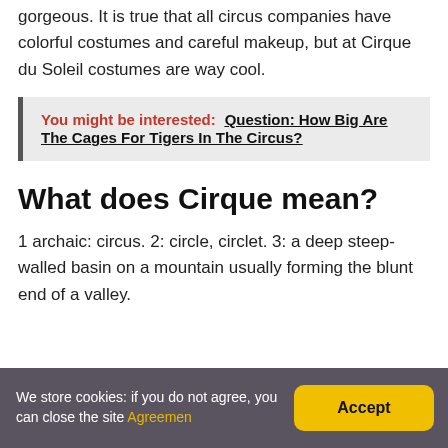gorgeous. It is true that all circus companies have colorful costumes and careful makeup, but at Cirque du Soleil costumes are way cool.
You might be interested:  Question: How Big Are The Cages For Tigers In The Circus?
What does Cirque mean?
1 archaic: circus. 2: circle, circlet. 3: a deep steep-walled basin on a mountain usually forming the blunt end of a valley.
We store cookies: if you do not agree, you can close the site Agreemen  Accept